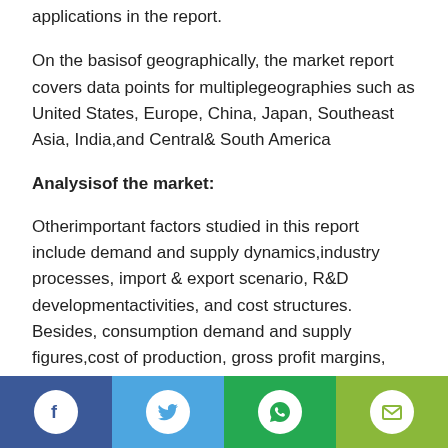applications in the report.
On the basisof geographically, the market report covers data points for multiplegeographies such as United States, Europe, China, Japan, Southeast Asia, India,and Central& South America
Analysisof the market:
Otherimportant factors studied in this report include demand and supply dynamics,industry processes, import & export scenario, R&D developmentactivities, and cost structures. Besides, consumption demand and supply figures,cost of production, gross profit margins, and selling price of products arealso estimated in this report.
[Figure (infographic): Social share footer bar with four buttons: Facebook (dark blue), Twitter (light blue), WhatsApp (green), Email (yellow-green), each showing a white icon in a white circle.]